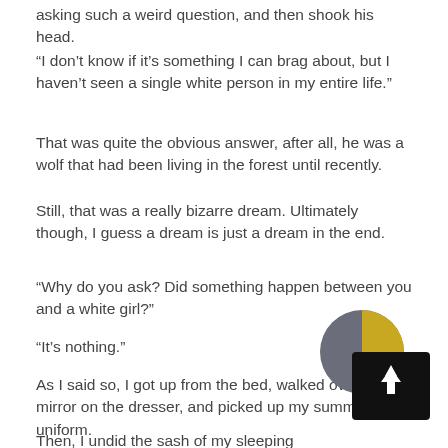asking such a weird question, and then shook his head.
“I don’t know if it’s something I can brag about, but I haven’t seen a single white person in my entire life.”
That was quite the obvious answer, after all, he was a wolf that had been living in the forest until recently.
Still, that was a really bizarre dream. Ultimately though, I guess a dream is just a dream in the end.
“Why do you ask? Did something happen between you and a white girl?”
“It’s nothing.”
As I said so, I got up from the bed, walked over to the mirror on the dresser, and picked up my summer uniform.
Then, I undid the sash of my sleeping robe and plac… hanger.
[Figure (other): A circular icon showing a moon with a golden/yellow segment, overlapping a black square button with an upward arrow (scroll-to-top button).]